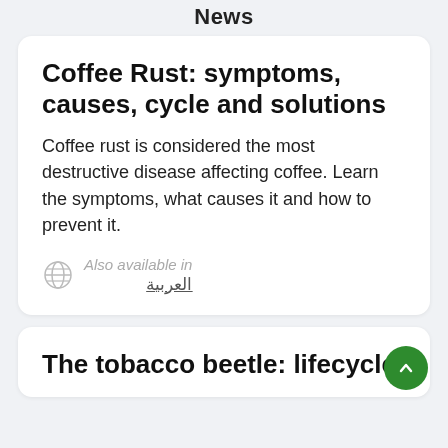News
Coffee Rust: symptoms, causes, cycle and solutions
Coffee rust is considered the most destructive disease affecting coffee. Learn the symptoms, what causes it and how to prevent it.
Also available in
العربية
The tobacco beetle: lifecycle,